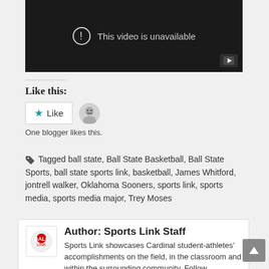[Figure (screenshot): YouTube video player showing 'This video is unavailable' message with warning icon and YouTube play button in bottom right corner]
Like this:
One blogger likes this.
Tagged ball state, Ball State Basketball, Ball State Sports, ball state sports link, basketball, James Whitford, jontrell walker, Oklahoma Sooners, sports link, sports media, sports media major, Trey Moses
Author: Sports Link Staff
Sports Link showcases Cardinal student-athletes' accomplishments on the field, in the classroom and within the surrounding community. Follow @bsusportslink on all social media platforms